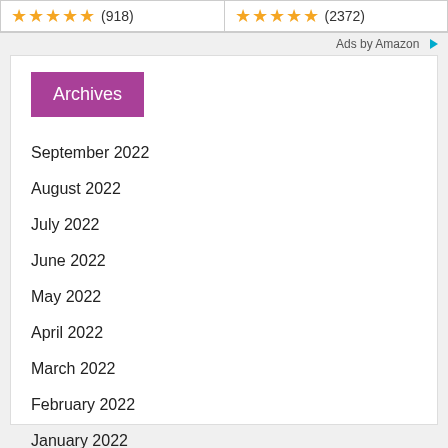[Figure (other): Star rating showing 5 gold stars with (918) review count]
[Figure (other): Star rating showing 5 gold stars with (2372) review count]
Ads by Amazon
Archives
September 2022
August 2022
July 2022
June 2022
May 2022
April 2022
March 2022
February 2022
January 2022
December 2021